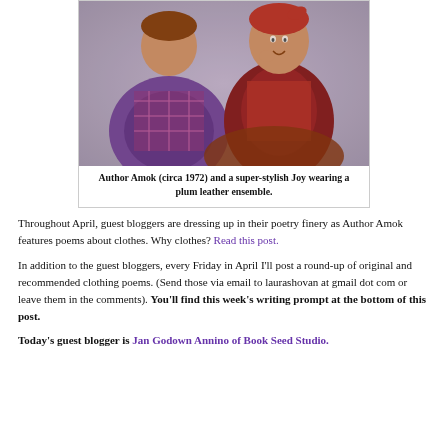[Figure (photo): Vintage photograph (circa 1972) showing two children, one in a plum leather ensemble]
Author Amok (circa 1972) and a super-stylish Joy wearing a plum leather ensemble.
Throughout April, guest bloggers are dressing up in their poetry finery as Author Amok features poems about clothes. Why clothes? Read this post.
In addition to the guest bloggers, every Friday in April I'll post a round-up of original and recommended clothing poems. (Send those via email to laurashovan at gmail dot com or leave them in the comments). You'll find this week's writing prompt at the bottom of this post.
Today's guest blogger is Jan Godown Annino of Book Seed Studio.